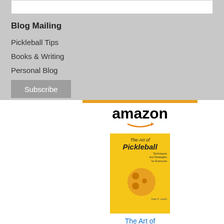Blog Mailing
Pickleball Tips
Books & Writing
Personal Blog
Subscribe
[Figure (other): Amazon product widget showing 'The Art of Pickleball' book for $12.19 with Prime badge and Shop now button]
The Art of Pickleball...
$12.19